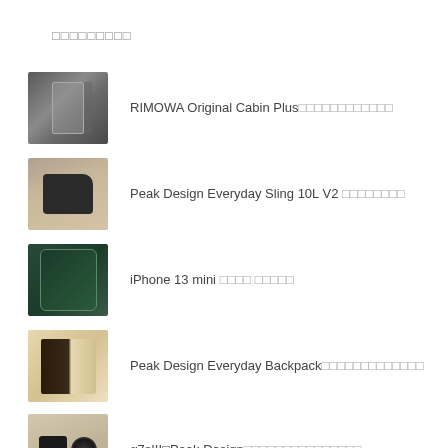□□□□□□□□□
RIMOWA Original Cabin Plus□□□□□□□□□□□□
Peak Design Everyday Sling 10L V2 □□□□□□□□
iPhone 13 mini □□□□ □□□□□
Peak Design Everyday Backpack□□□□□□□□□□□□□
α7sIII□Peak Design□□□□□□□□□□□□□□□